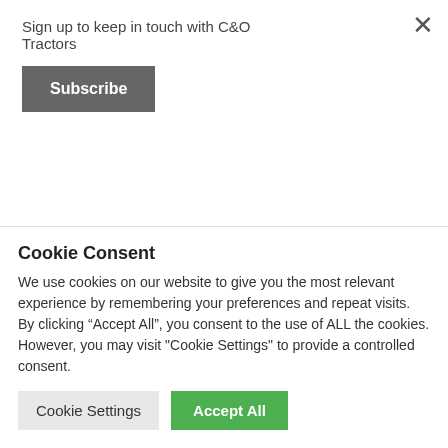Sign up to keep in touch with C&O Tractors
Subscribe
[Figure (photo): Partial background image of soil/ground with large watermark text letters visible]
MF 6718S D6 EFF LDR
FURL ACD
Cookie Consent
We use cookies on our website to give you the most relevant experience by remembering your preferences and repeat visits. By clicking “Accept All”, you consent to the use of ALL the cookies. However, you may visit "Cookie Settings" to provide a controlled consent.
Cookie Settings
Accept All